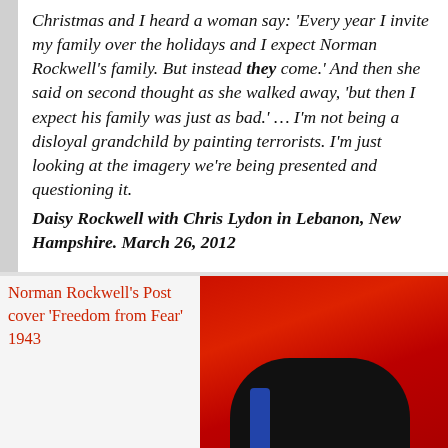Christmas and I heard a woman say: 'Every year I invite my family over the holidays and I expect Norman Rockwell's family. But instead they come.' And then she said on second thought as she walked away, 'but then I expect his family was just as bad.' … I'm not being a disloyal grandchild by painting terrorists. I'm just looking at the imagery we're being presented and questioning it.
Daisy Rockwell with Chris Lydon in Lebanon, New Hampshire. March 26, 2012
Norman Rockwell's Post cover 'Freedom from Fear' 1943
[Figure (photo): A painting or photograph with a bright red background showing dark silhouetted figures, appears to be a reinterpretation of Norman Rockwell's 'Freedom from Fear' 1943 Post cover.]